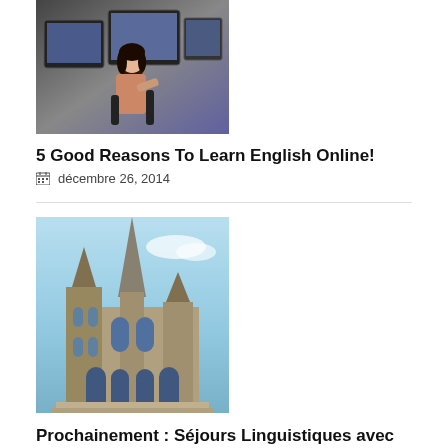[Figure (photo): Students working at computers in a classroom setting]
5 Good Reasons To Learn English Online!
décembre 26, 2014
[Figure (photo): Gothic cathedral with tall spire against blue sky]
Prochainement : Séjours Linguistiques avec SECComing Soon : Language Stays with SEC
mars 14, 2016